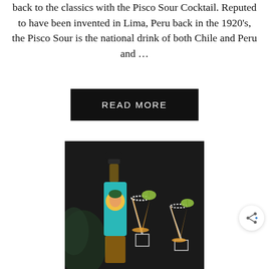back to the classics with the Pisco Sour Cocktail. Reputed to have been invented in Lima, Peru back in the 1920's, the Pisco Sour is the national drink of both Chile and Peru and …
READ MORE
[Figure (photo): A bottle of hot sauce with a colorful teal label featuring a woman's face illustration, surrounded by two cocktail glasses filled with an orange-yellow drink, garnished with lime slices and salted rims, on a dark background with green foliage.]